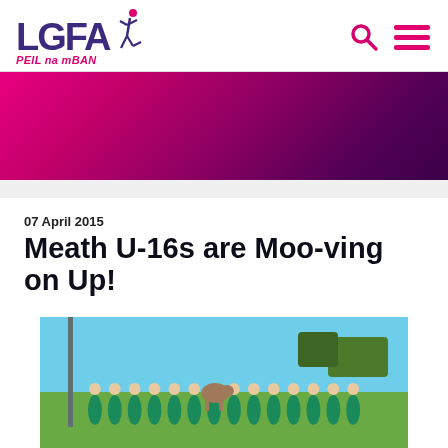LGFA PEIL na mBAN
[Figure (photo): Pink to purple gradient banner background]
07 April 2015
Meath U-16s are Moo-ving on Up!
[Figure (photo): Group photo of Meath U-16 girls football team in green and white jerseys, standing on a field with trees in the background and a cow visible among the group]